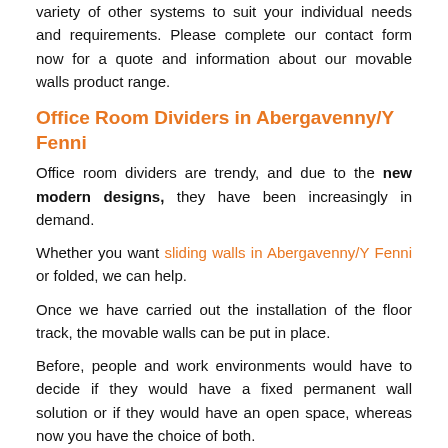variety of other systems to suit your individual needs and requirements. Please complete our contact form now for a quote and information about our movable walls product range.
Office Room Dividers in Abergavenny/Y Fenni
Office room dividers are trendy, and due to the new modern designs, they have been increasingly in demand.
Whether you want sliding walls in Abergavenny/Y Fenni or folded, we can help.
Once we have carried out the installation of the floor track, the movable walls can be put in place.
Before, people and work environments would have to decide if they would have a fixed permanent wall solution or if they would have an open space, whereas now you have the choice of both.
Managers like it because they can monitor their staff and communicate with them with ease, but at the same time, when they need a more quiet space or have a meeting, they can just shut the partition.